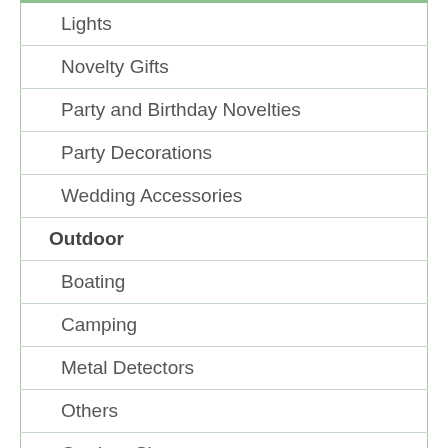| Lights |
| Novelty Gifts |
| Party and Birthday Novelties |
| Party Decorations |
| Wedding Accessories |
| Outdoor |
| Boating |
| Camping |
| Metal Detectors |
| Others |
| Outdoor Shoes |